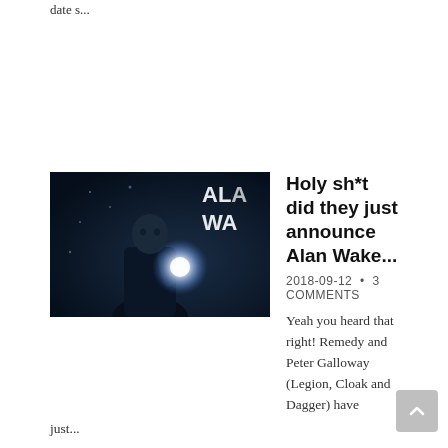date s...
[Figure (photo): Alan Wake video game promotional image showing a man holding a flashlight against a dark background with the text 'ALA WA' visible]
Holy sh*t did they just announce Alan Wake...
2018-09-12 • 3 COMMENTS
Yeah you heard that right! Remedy and Peter Galloway (Legion, Cloak and Dagger) have just...